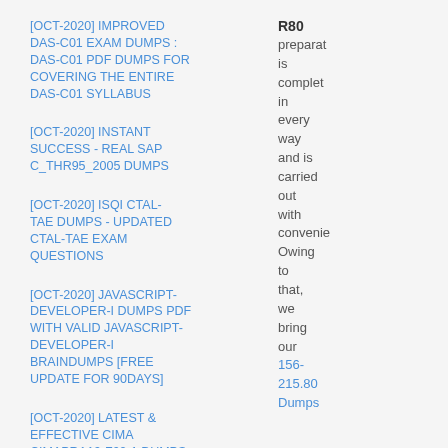[OCT-2020] IMPROVED DAS-C01 EXAM DUMPS : DAS-C01 PDF DUMPS FOR COVERING THE ENTIRE DAS-C01 SYLLABUS
[OCT-2020] INSTANT SUCCESS - REAL SAP C_THR95_2005 DUMPS
[OCT-2020] ISQI CTAL-TAE DUMPS - UPDATED CTAL-TAE EXAM QUESTIONS
[OCT-2020] JAVASCRIPT-DEVELOPER-I DUMPS PDF WITH VALID JAVASCRIPT-DEVELOPER-I BRAINDUMPS [FREE UPDATE FOR 90DAYS]
[OCT-2020] LATEST & EFFECTIVE CIMA CIMAPRA19-F02-1 DUMPS
[OCT-2020] LATEST & EFFECTIVE CIMA CIMAPRA19-F03-1 DUMPS
R80 preparation is complete in every way and is carried out with convenie Owing to that, we bring our 156-215.80 Dumps